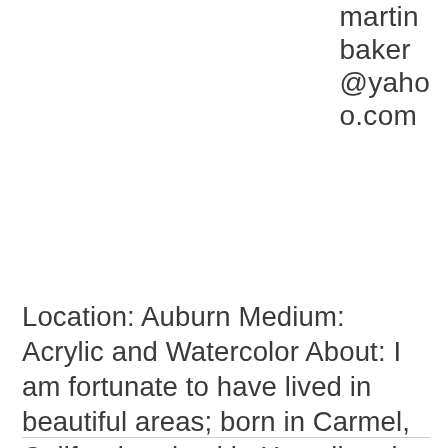martin baker @yahoo o.com
Location: Auburn Medium: Acrylic and Watercolor About: I am fortunate to have lived in beautiful areas; born in Carmel, California raised in Hawaii and lived in Napa, Pacific Northwest, Tahoe and the Sierra Foothills; each unique however equal in their beauty. My Father was a listed artist in Carmel, hopefully I channel [...]